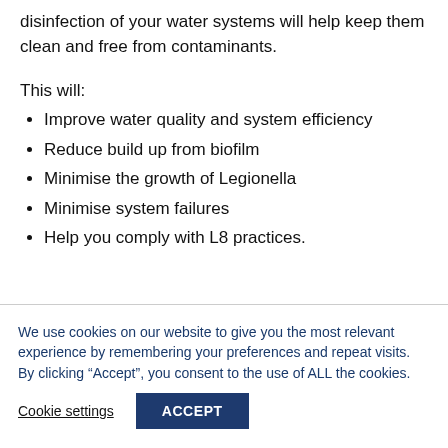disinfection of your water systems will help keep them clean and free from contaminants.
This will:
Improve water quality and system efficiency
Reduce build up from biofilm
Minimise the growth of Legionella
Minimise system failures
Help you comply with L8 practices.
We use cookies on our website to give you the most relevant experience by remembering your preferences and repeat visits. By clicking “Accept”, you consent to the use of ALL the cookies.
Cookie settings  ACCEPT